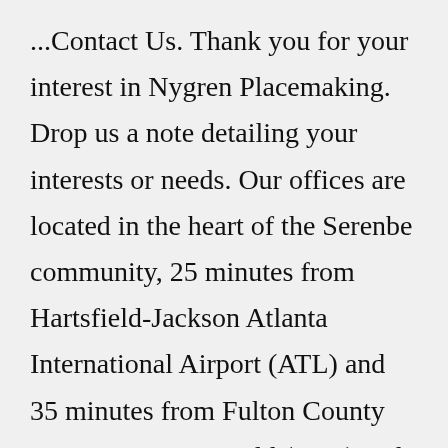...Contact Us. Thank you for your interest in Nygren Placemaking. Drop us a note detailing your interests or needs. Our offices are located in the heart of the Serenbe community, 25 minutes from Hartsfield-Jackson Atlanta International Airport (ATL) and 35 minutes from Fulton County Airport - Brown Field (FTY) and 50 minutes from Peachtree Dekalb Airport (PDX). Oct 01, 2015 · Steve Nygren, chief financial officer of the Republic Rest Yo...